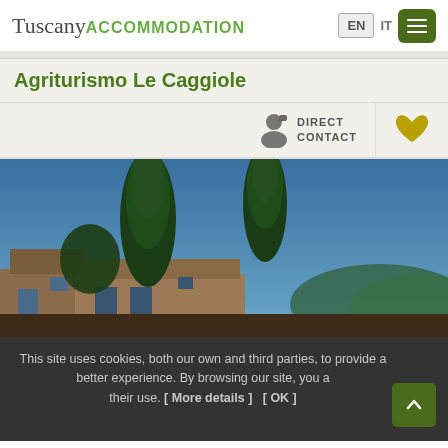Tuscany ACCOMMODATION — EN IT [menu]
Agriturismo Le Caggiole
DIRECT CONTACT
[Figure (photo): Exterior photo of Agriturismo Le Caggiole showing tall cypress trees in front of a stone farmhouse at dusk with warm lighting]
This site uses cookies, both our own and third parties, to provide a better experience. By browsing our site, you agree to their use. [ More details ] [ OK ]